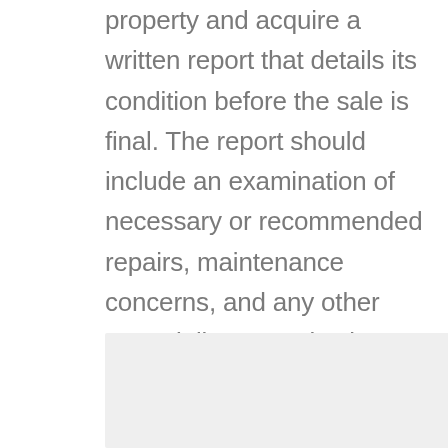property and acquire a written report that details its condition before the sale is final. The report should include an examination of necessary or recommended repairs, maintenance concerns, and any other potentially expensive issues. The physical structure of the home, from the foundation to the roof, as well as the home's systems, must be included in the assessment to ascertain if the home is up to code.
[Figure (photo): A light gray rectangular placeholder image box at the bottom of the page]